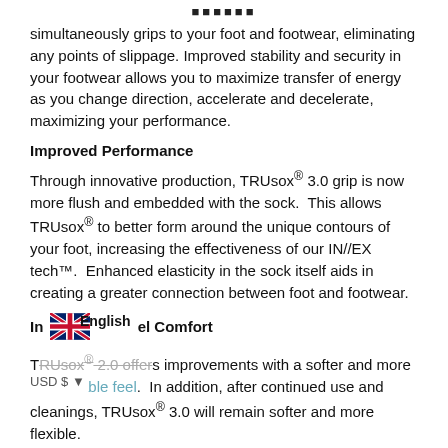simultaneously grips to your foot and footwear, eliminating any points of slippage. Improved stability and security in your footwear allows you to maximize transfer of energy as you change direction, accelerate and decelerate, maximizing your performance.
Improved Performance
Through innovative production, TRUsox® 3.0 grip is now more flush and embedded with the sock.  This allows TRUsox® to better form around the unique contours of your foot, increasing the effectiveness of our IN//EX tech™.  Enhanced elasticity in the sock itself aids in creating a greater connection between foot and footwear.
Improved Comfort
TRUsox® 3.0 offers improvements with a softer and more comfortable feel.  In addition, after continued use and cleanings, TRUsox® 3.0 will remain softer and more flexible.